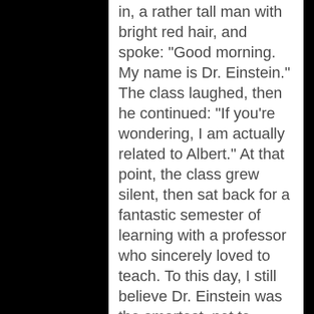in, a rather tall man with bright red hair, and spoke: "Good morning.  My name is Dr. Einstein."  The class laughed, then he continued: "If you're wondering, I am actually related to Albert."  At that point, the class grew silent, then sat back for a fantastic semester of learning with a professor who sincerely loved to teach.  To this day, I still believe Dr. Einstein was the smartest–not to mention most challenging–professor I had.  (If you're wondering, he's still teaching at Furman)
In the final two-hour conclusion to National Geographic Channel's